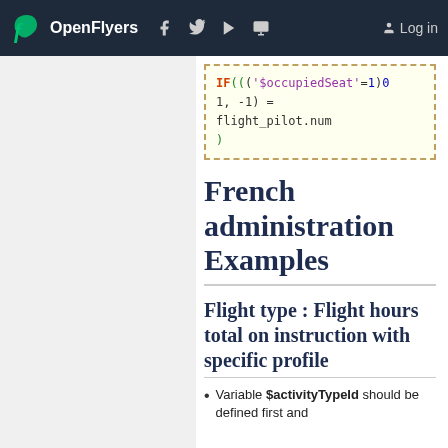OpenFlyers | Log in
[Figure (screenshot): Code block showing SQL/template IF statement with '$occupiedSeat'=1, -1, flight_pilot.num]
French administration Examples
Flight type : Flight hours total on instruction with specific profile
Variable $activityTypeId should be defined first and